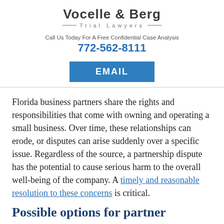VOCELLE & BERG — TRIAL LAWYERS —
Call Us Today For A Free Confidential Case Analysis
772-562-8111
EMAIL
Florida business partners share the rights and responsibilities that come with owning and operating a small business. Over time, these relationships can erode, or disputes can arise suddenly over a specific issue. Regardless of the source, a partnership dispute has the potential to cause serious harm to the overall well-being of the company. A timely and reasonable resolution to these concerns is critical.
Possible options for partner
There are times when it is possible for contending partners to come to a reasonable resolution to their